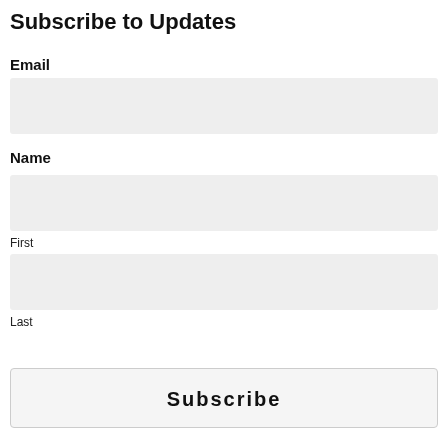Subscribe to Updates
Email
[Figure (other): Empty input field for Email]
Name
[Figure (other): Empty input field for First name]
First
[Figure (other): Empty input field for Last name]
Last
[Figure (other): Subscribe button]